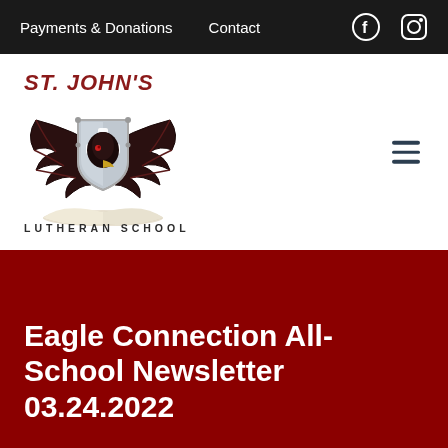Payments & Donations   Contact
[Figure (logo): St. John's Lutheran School eagle and shield logo with wings spread over an open book, with a cross on the shield]
Eagle Connection All-School Newsletter 03.24.2022